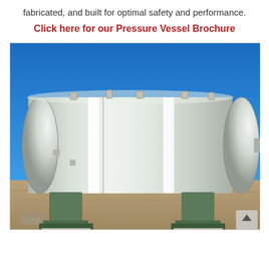fabricated, and built for optimal safety and performance.
Click here for our Pressure Vessel Brochure
[Figure (photo): Large horizontal cylindrical pressure vessel with shiny metallic surface, supported on green metal stands, photographed outdoors under a clear blue sky on a sandy/dirt surface.]